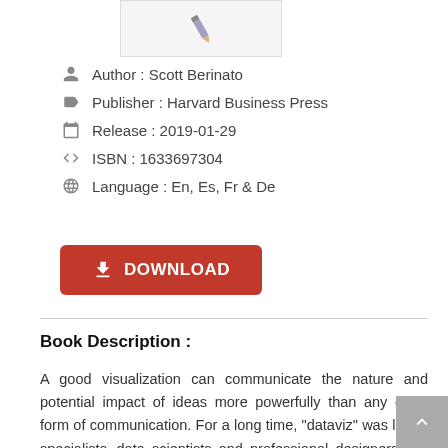[Figure (illustration): Book cover thumbnail with a pencil icon on a light grey background]
Author : Scott Berinato
Publisher : Harvard Business Press
Release : 2019-01-29
ISBN : 1633697304
Language : En, Es, Fr & De
[Figure (other): Red DOWNLOAD button with download icon]
Book Description :
A good visualization can communicate the nature and potential impact of ideas more powerfully than any other form of communication. For a long time, "dataviz" was left to specialists--data scientists and professional designers. No longer. A new generation of tools and massive amounts of available data make it easy for